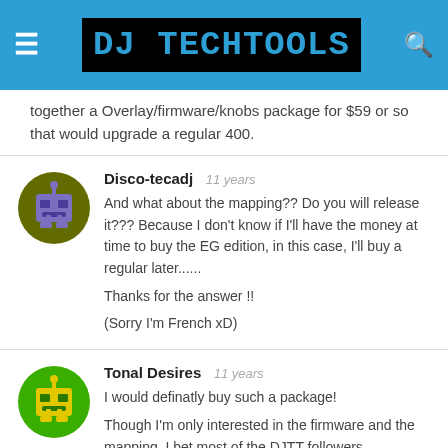DJ TechTools
together a Overlay/firmware/knobs package for $59 or so that would upgrade a regular 400.
Disco-tecadj  11 years
And what about the mapping?? Do you will release it??? Because I don't know if I'll have the money at time to buy the EG edition, in this case, I'll buy a regular later......

Thanks for the answer !!

(Sorry I'm French xD)
Tonal Desires  11 years
I would definatly buy such a package!

Though I'm only interested in the firmware and the mapping, I bet most of the DJTT followers